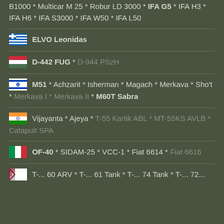B1000 * Multicar M 25 * Robur LD 3000 * IFA G5 * IFA H3 * IFA H6 * IFA S3000 * IFA W50 * IFA L50
ELVO Leonidas (Greece)
D-442 FUG * D-944 PSzH (Hungary)
M51 * Achzarit * Isherman * Magach * Merkava * Sho't * Merkava I * Merkava II * M60T Sabra (Israel)
Vijayanta * Ajeya * T-55 Kartik ABL * MT-55KS AVLB * Catapult SPA (India)
OF-40 * SIDAM-25 * VCC-1 * Fiat 6614 * Fiat 6616 (Italy)
T-... (partially visible)